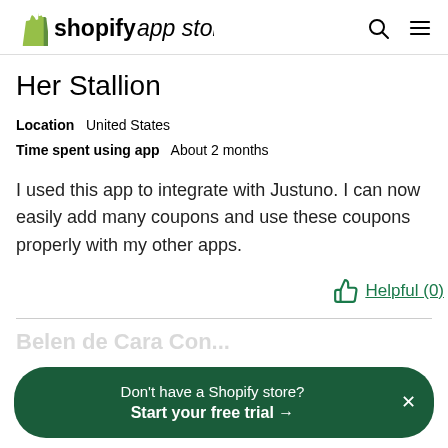shopify app store
Her Stallion
Location   United States
Time spent using app   About 2 months
I used this app to integrate with Justuno. I can now easily add many coupons and use these coupons properly with my other apps.
Helpful (0)
Don't have a Shopify store?
Start your free trial →